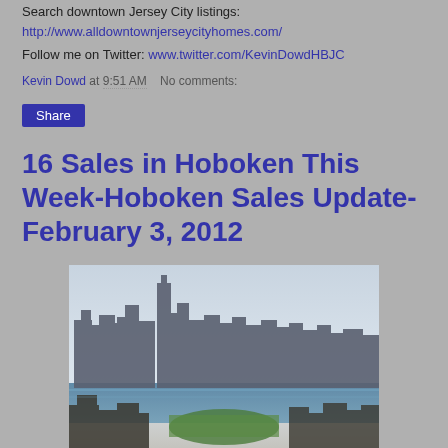Search downtown Jersey City listings: http://www.alldowntownjerseycityhomes.com/
Follow me on Twitter: www.twitter.com/KevinDowdHBJC
Kevin Dowd at 9:51 AM   No comments:
Share
16 Sales in Hoboken This Week-Hoboken Sales Update-February 3, 2012
[Figure (photo): Aerial/elevated view of Hoboken and Manhattan skyline across the Hudson River, showing city buildings, a green field, and the river in the foreground.]